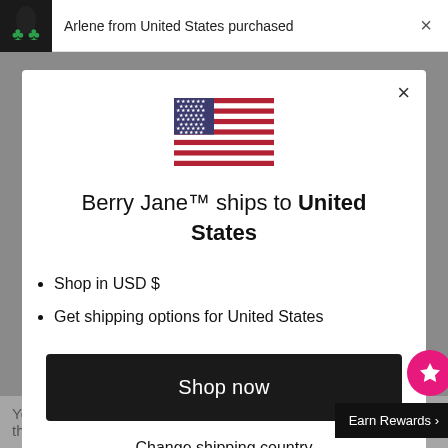Arlene from United States purchased
[Figure (illustration): US flag emoji/icon centered in modal]
Berry Jane™ ships to United States
Shop in USD $
Get shipping options for United States
Shop now
Change shipping country
You can control and manage coo... ways. Please keep in mind that re...
Earn Rewards